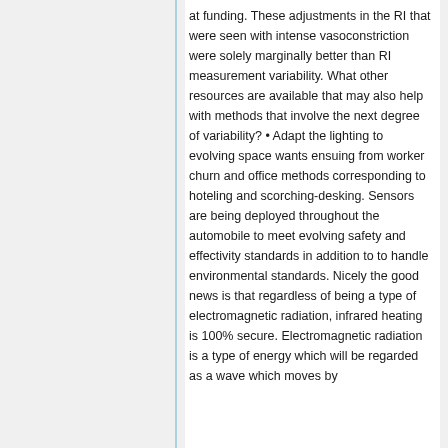at funding. These adjustments in the RI that were seen with intense vasoconstriction were solely marginally better than RI measurement variability. What other resources are available that may also help with methods that involve the next degree of variability? • Adapt the lighting to evolving space wants ensuing from worker churn and office methods corresponding to hoteling and scorching-desking. Sensors are being deployed throughout the automobile to meet evolving safety and effectivity standards in addition to to handle environmental standards. Nicely the good news is that regardless of being a type of electromagnetic radiation, infrared heating is 100% secure. Electromagnetic radiation is a type of energy which will be regarded as a wave which moves by